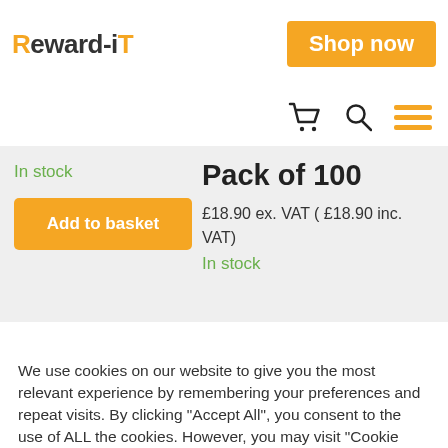Reward-iT
Shop now
In stock
Pack of 100
£18.90 ex. VAT ( £18.90 inc. VAT)
In stock
Add to basket
We use cookies on our website to give you the most relevant experience by remembering your preferences and repeat visits. By clicking "Accept All", you consent to the use of ALL the cookies. However, you may visit "Cookie Settings" to provide a controlled consent.
Cookie Settings
Accept All